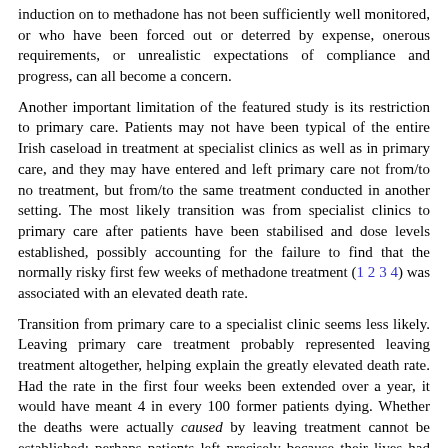induction on to methadone has not been sufficiently well monitored, or who have been forced out or deterred by expense, onerous requirements, or unrealistic expectations of compliance and progress, can all become a concern.
Another important limitation of the featured study is its restriction to primary care. Patients may not have been typical of the entire Irish caseload in treatment at specialist clinics as well as in primary care, and they may have entered and left primary care not from/to no treatment, but from/to the same treatment conducted in another setting. The most likely transition was from specialist clinics to primary care after patients have been stabilised and dose levels established, possibly accounting for the failure to find that the normally risky first few weeks of methadone treatment (1 2 3 4) was associated with an elevated death rate.
Transition from primary care to a specialist clinic seems less likely. Leaving primary care treatment probably represented leaving treatment altogether, helping explain the greatly elevated death rate. Had the rate in the first four weeks been extended over a year, it would have meant 4 in every 100 former patients dying. Whether the deaths were actually caused by leaving treatment cannot be established; perhaps patients left precisely because their lives had become destabilised, or they wanted to return to regular injecting of illegally obtained opiates despite the risks. But other studies in which treatment has been denied or leaving forced on patients (1 2 3 4) suggest that the shield offered by methadone, and perhaps too the associated frequent medical contact, is an active ingredient in avoiding preventable deaths.
Another limitation of the study is the one-year post-treatment cut off,